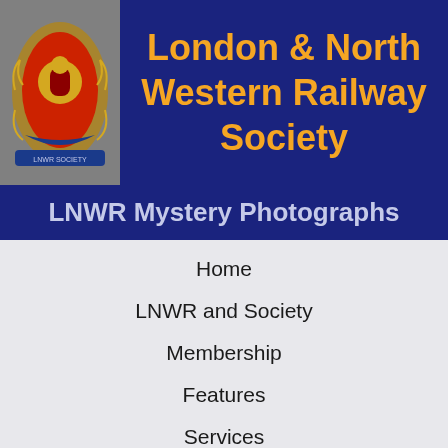[Figure (logo): LNWR Society crest/coat of arms on grey background]
London & North Western Railway Society
LNWR Mystery Photographs
Home
LNWR and Society
Membership
Features
Services
Webb Site
Donate